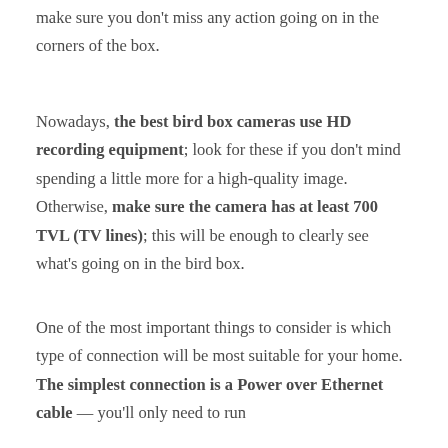make sure you don't miss any action going on in the corners of the box.
Nowadays, the best bird box cameras use HD recording equipment; look for these if you don't mind spending a little more for a high-quality image. Otherwise, make sure the camera has at least 700 TVL (TV lines); this will be enough to clearly see what's going on in the bird box.
One of the most important things to consider is which type of connection will be most suitable for your home. The simplest connection is a Power over Ethernet cable — you'll only need to run